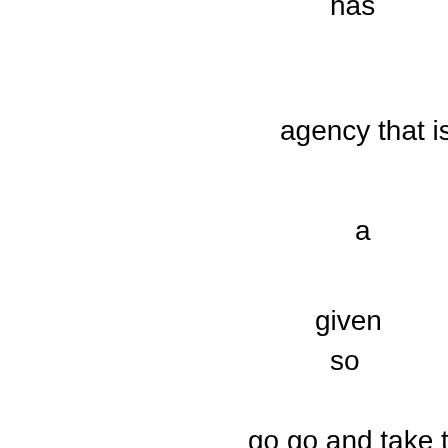has
agency that is
a
given
so
go go and take t
back
no
no